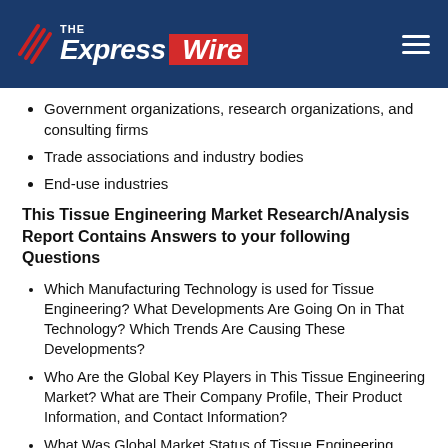THE Express Wire
Government organizations, research organizations, and consulting firms
Trade associations and industry bodies
End-use industries
This Tissue Engineering Market Research/Analysis Report Contains Answers to your following Questions
Which Manufacturing Technology is used for Tissue Engineering? What Developments Are Going On in That Technology? Which Trends Are Causing These Developments?
Who Are the Global Key Players in This Tissue Engineering Market? What are Their Company Profile, Their Product Information, and Contact Information?
What Was Global Market Status of Tissue Engineering Market? What Was Capacity, Production Value, Cost and PROFIT of Tissue Engineering Market?